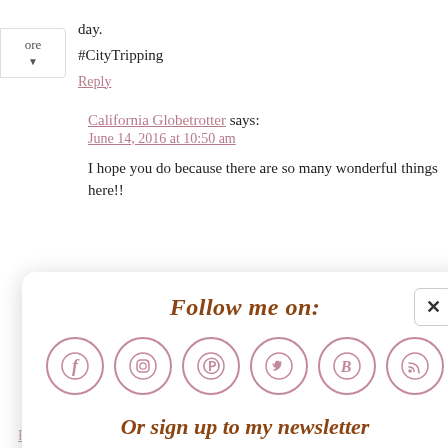day.   #CityTripping
Reply
California Globetrotter says:
June 14, 2016 at 10:50 am
I hope you do because there are so many wonderful things here!!
[Figure (screenshot): Popup modal with 'Follow me on:' title, social media icons (Facebook, Instagram, Pinterest, Twitter, Bloglovin, RSS), 'Or sign up to my newsletter' text, and a Subscribe email bar with Sign Up! button]
Reply
California Globetrotter says: